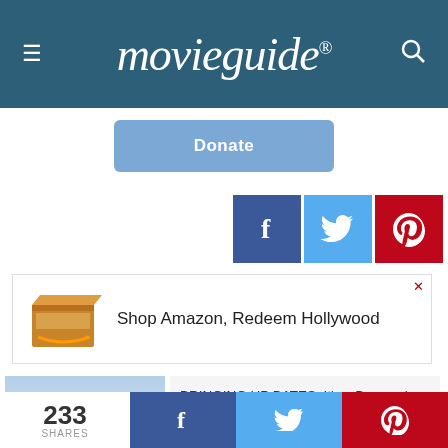movieguide®
Donate
[Figure (infographic): Social sharing icons: Facebook (blue), Twitter (light blue), Pinterest (red)]
[Figure (infographic): Amazon advertisement: Shop Amazon, Redeem Hollywood]
[Figure (illustration): Bringing Up Bates TV show thumbnail with colorful logo]
BRINGING UP BATES: It's a Boy, and Maybe One More?
Content: +4
233 SHARES